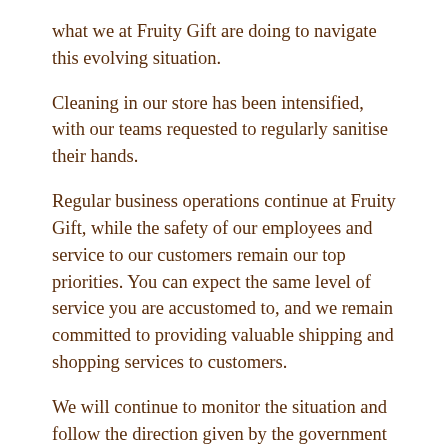what we at Fruity Gift are doing to navigate this evolving situation.
Cleaning in our store has been intensified, with our teams requested to regularly sanitise their hands.
Regular business operations continue at Fruity Gift, while the safety of our employees and service to our customers remain our top priorities. You can expect the same level of service you are accustomed to, and we remain committed to providing valuable shipping and shopping services to customers.
We will continue to monitor the situation and follow the direction given by the government and will take whatever action is necessary to protect the health of our customers and our teams.
There is currently “no evidence that food is a likely source or route of transmission” of the novel coronavirus, COVID-19, the European Food